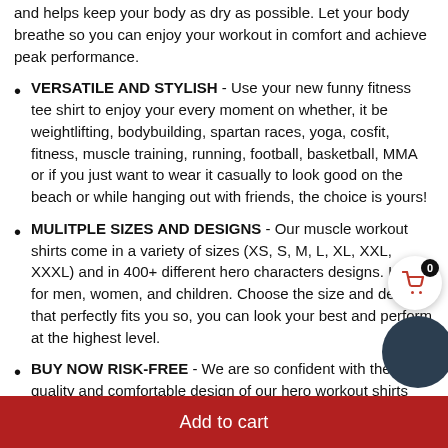and helps keep your body as dry as possible. Let your body breathe so you can enjoy your workout in comfort and achieve peak performance.
VERSATILE AND STYLISH - Use your new funny fitness tee shirt to enjoy your every moment on whether, it be weightlifting, bodybuilding, spartan races, yoga, cosfit, fitness, muscle training, running, football, basketball, MMA or if you just want to wear it casually to look good on the beach or while hanging out with friends, the choice is yours!
MULITPLE SIZES AND DESIGNS - Our muscle workout shirts come in a variety of sizes (XS, S, M, L, XL, XXL, XXXL) and in 400+ different hero characters designs. Ideal for men, women, and children. Choose the size and design that perfectly fits you so, you can look your best and perform at the highest level.
BUY NOW RISK-FREE - We are so confident with the quality and comfortable design of our hero workout shirts that they are backed by our lifetime guarant. Feel free to contact us anytime to ask any questio
Add to cart